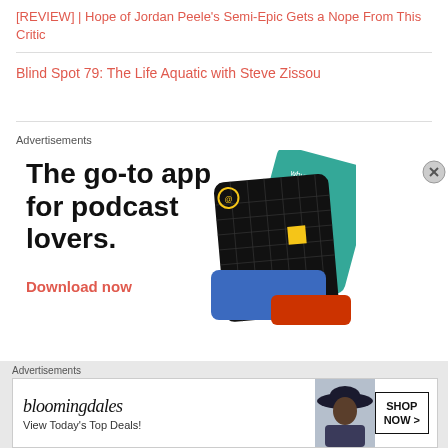[REVIEW] | Hope of Jordan Peele's Semi-Epic Gets a Nope From This Critic
Blind Spot 79: The Life Aquatic with Steve Zissou
Advertisements
[Figure (illustration): Advertisement for a podcast app showing bold text 'The go-to app for podcast lovers.' with 'Download now' in red/orange, alongside stylized podcast app card images including 99% Invisible.]
Advertisements
[Figure (illustration): Bloomingdale's banner ad showing logo 'bloomingdales', tagline 'View Today's Top Deals!', image of woman in hat, and 'SHOP NOW >' button.]